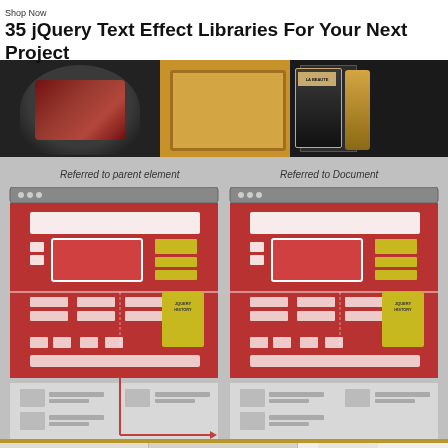35 jQuery Text Effect Libraries For Your Next Project
[Figure (screenshot): Diagram overlay showing two UI layout diagrams side by side labeled 'Referred to parent element' and 'Referred to Document', with red backgrounds and white UI component rectangles, overlaid on an e-commerce webpage. A gold/yellow border strip runs along the bottom of the diagram.]
[Figure (photo): Product listing area showing three product columns: Merrell Men's Moab 2 Vent Mid Hiking boots (black), Charging Stations Desk Stand Organizer, and Med Couture Signature MC... with prices $110.05, $26.00, $22.00 and Amazon Prime labels.]
Merrell Men's Moab 2 Vent Mid Hiking B...
Charging Stations Desk Stand Orga...
Med Couture Signature MC...
$110.05
$26.00
$22.00